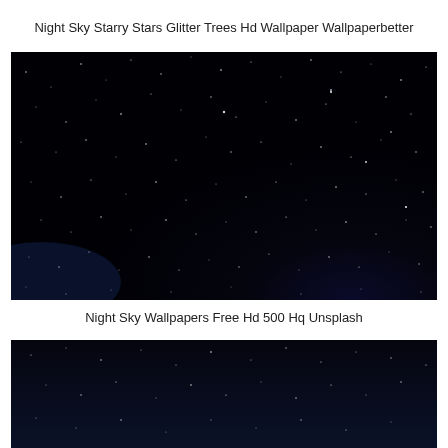Night Sky Starry Stars Glitter Trees Hd Wallpaper Wallpaperbetter
[Figure (photo): Night sky photograph showing a dark, nearly black sky filled with scattered white stars and faint glitter-like star clusters. The lower left corner shows a very subtle deep blue gradient suggesting a horizon or landscape silhouette.]
Night Sky Wallpapers Free Hd 500 Hq Unsplash
[Figure (photo): Partial view of another night sky photograph showing a dark navy/black sky with scattered stars, cropped at the bottom of the page.]